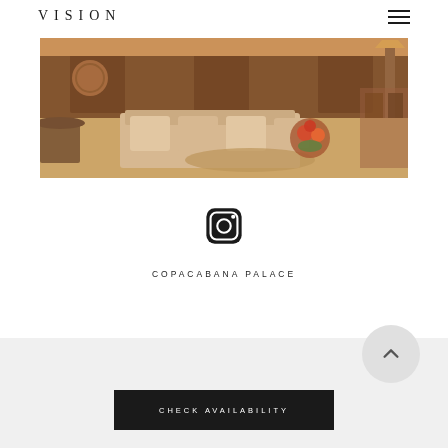VISION
[Figure (photo): Interior photo of a luxury hotel lobby/suite at Copacabana Palace, showing plush beige sofas, wooden wall panels, decorative objects, floral arrangement on a glass coffee table, warm ambient lighting]
[Figure (logo): Instagram camera icon in black]
COPACABANA PALACE
CHECK AVAILABILITY